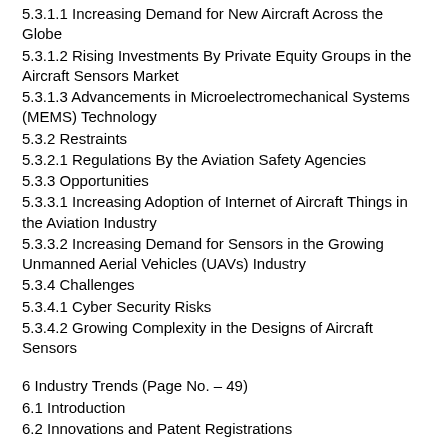5.3.1.1 Increasing Demand for New Aircraft Across the Globe
5.3.1.2 Rising Investments By Private Equity Groups in the Aircraft Sensors Market
5.3.1.3 Advancements in Microelectromechanical Systems (MEMS) Technology
5.3.2 Restraints
5.3.2.1 Regulations By the Aviation Safety Agencies
5.3.3 Opportunities
5.3.3.1 Increasing Adoption of Internet of Aircraft Things in the Aviation Industry
5.3.3.2 Increasing Demand for Sensors in the Growing Unmanned Aerial Vehicles (UAVs) Industry
5.3.4 Challenges
5.3.4.1 Cyber Security Risks
5.3.4.2 Growing Complexity in the Designs of Aircraft Sensors
6 Industry Trends (Page No. – 49)
6.1 Introduction
6.2 Innovations and Patent Registrations